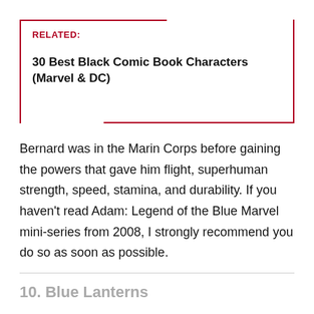RELATED:
30 Best Black Comic Book Characters (Marvel & DC)
Bernard was in the Marin Corps before gaining the powers that gave him flight, superhuman strength, speed, stamina, and durability. If you haven't read Adam: Legend of the Blue Marvel mini-series from 2008, I strongly recommend you do so as soon as possible.
10. Blue Lanterns